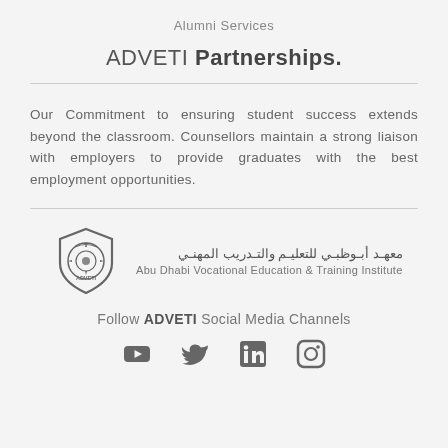Alumni Services
ADVETI Partnerships.
Our Commitment to ensuring student success extends beyond the classroom. Counsellors maintain a strong liaison with employers to provide graduates with the best employment opportunities.
[Figure (logo): ADVETI shield logo with Arabic text: معهد أبـوظبـي للتعليـم والتـدريب المهنـي and English text: Abu Dhabi Vocational Education & Training Institute]
Follow ADVETI Social Media Channels
[Figure (infographic): Four social media icons: YouTube, Twitter, LinkedIn, Instagram]